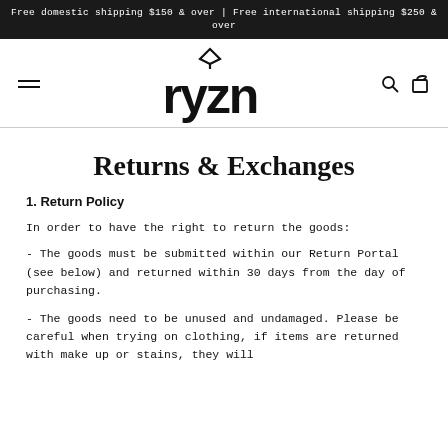Free domestic shipping $150 & over | Free international shipping $250 & over
[Figure (logo): RYZN brand logo with house/diamond icon above stylized text 'ryzn']
Returns & Exchanges
1. Return Policy
In order to have the right to return the goods:
- The goods must be submitted within our Return Portal (see below) and returned within 30 days from the day of purchasing.
- The goods need to be unused and undamaged. Please be careful when trying on clothing, if items are returned with make up or stains, they will